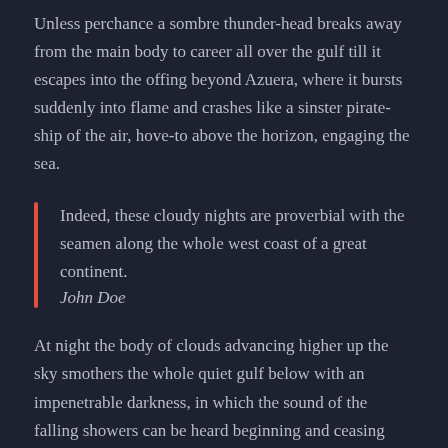Unless perchance a sombre thunder-head breaks away from the main body to career all over the gulf till it escapes into the offing beyond Azuera, where it bursts suddenly into flame and crashes like a sinster pirate-ship of the air, hove-to above the horizon, engaging the sea.
Indeed, these cloudy nights are proverbial with the seamen along the whole west coast of a great continent.
John Doe
At night the body of clouds advancing higher up the sky smothers the whole quiet gulf below with an impenetrable darkness, in which the sound of the falling showers can be heard beginning and ceasing abruptly—now here, now there. Indeed, these cloudy nights are proverbial with the seamen along the whole west coast of